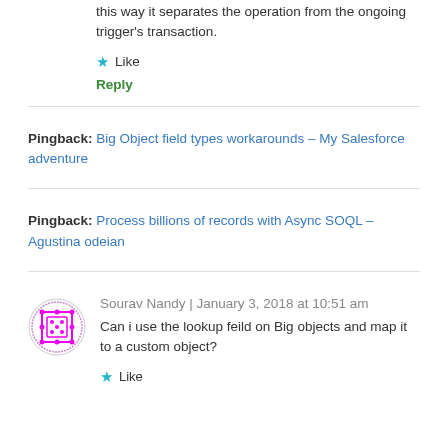this way it separates the operation from the ongoing trigger's transaction.
Like
Reply
Pingback: Big Object field types workarounds – My Salesforce adventure
Pingback: Process billions of records with Async SOQL – Agustina odeian
Sourav Nandy | January 3, 2018 at 10:51 am
Can i use the lookup feild on Big objects and map it to a custom object?
Like